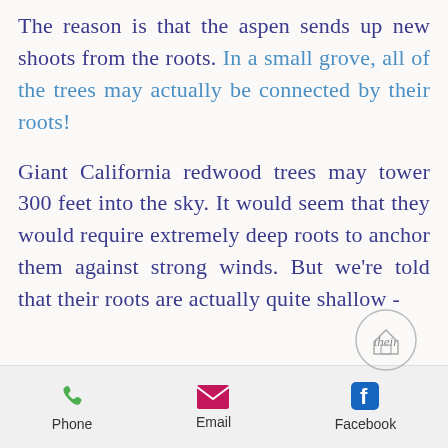The reason is that the aspen sends up new shoots from the roots. In a small grove, all of the trees may actually be connected by their roots!
Giant California redwood trees may tower 300 feet into the sky. It would seem that they would require extremely deep roots to anchor them against strong winds. But we're told that their roots are actually quite shallow -
Phone  Email  Facebook